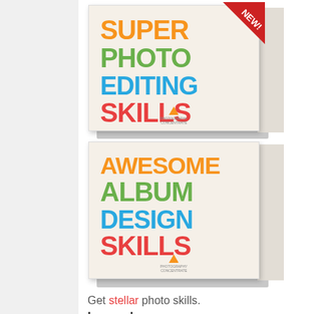[Figure (illustration): Two stacked book covers with colorful titles. Top book: SUPER PHOTO EDITING SKILLS with a NEW! ribbon banner. Bottom book: AWESOME ALBUM DESIGN SKILLS. Both have cream/beige covers with orange, green, blue, and red text.]
Get stellar photo skills.
In one day.